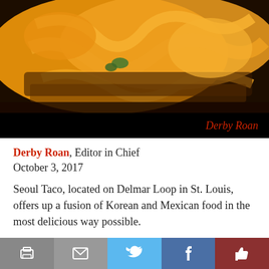[Figure (photo): Close-up photo of food with orange/yellow sauce drizzled over items on a plate, with a black caption bar at the bottom reading 'Derby Roan' in red text]
Derby Roan, Editor in Chief
October 3, 2017
Seoul Taco, located on Delmar Loop in St. Louis, offers up a fusion of Korean and Mexican food in the most delicious way possible.
Food is served in Mexican style, as tacos, burritos and quesadillas, and seasoned with Korean Seoul spices. The restaurant offers alternative choices for customers with dietary restrictions. For example, those with gluten